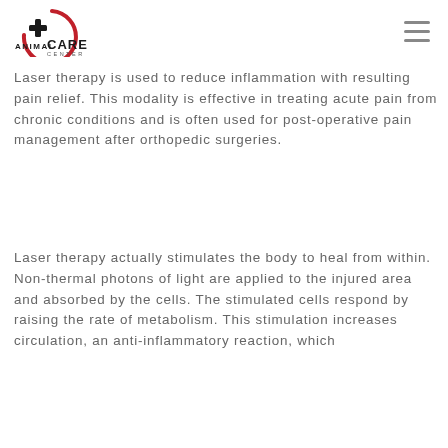[Figure (logo): Animal Care Center logo with red circular arc, black cross/plus symbol, and text 'ANIMAL CARE CENTER']
Laser therapy is used to reduce inflammation with resulting pain relief. This modality is effective in treating acute pain from chronic conditions and is often used for post-operative pain management after orthopedic surgeries.
Laser therapy actually stimulates the body to heal from within. Non-thermal photons of light are applied to the injured area and absorbed by the cells. The stimulated cells respond by raising the rate of metabolism. This stimulation increases circulation, an anti-inflammatory reaction, which